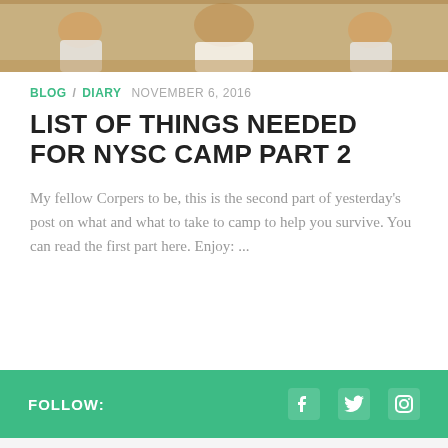[Figure (photo): Photo strip showing people in white clothing outdoors on a field]
BLOG / DIARY  NOVEMBER 6, 2016
LIST OF THINGS NEEDED FOR NYSC CAMP PART 2
My fellow Corpers to be, this is the second part of yesterday's post on what and what to take to camp to help you survive. You can read the first part here. Enjoy:  ...
FOLLOW:
ARCHIVES
Select Month